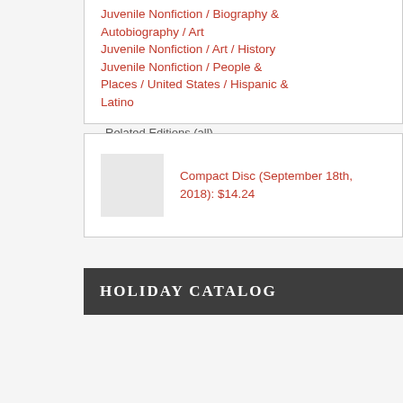Juvenile Nonfiction / Biography & Autobiography / Art
Juvenile Nonfiction / Art / History
Juvenile Nonfiction / People & Places / United States / Hispanic & Latino
Related Editions (all)
Compact Disc (September 18th, 2018): $14.24
HOLIDAY CATALOG